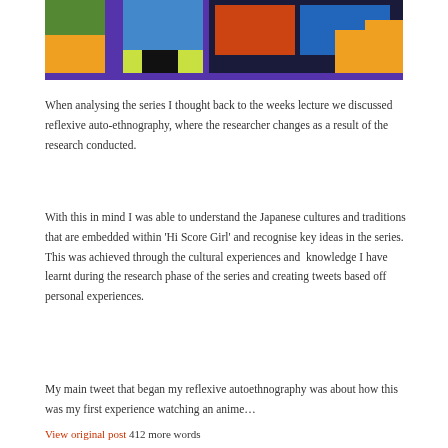[Figure (illustration): Anime screenshot from 'Hi Score Girl' showing characters in a colorful arcade/classroom setting with yellow, purple, and orange tones]
When analysing the series I thought back to the weeks lecture we discussed reflexive auto-ethnography, where the researcher changes as a result of the research conducted.
With this in mind I was able to understand the Japanese cultures and traditions that are embedded within 'Hi Score Girl' and recognise key ideas in the series. This was achieved through the cultural experiences and  knowledge I have learnt during the research phase of the series and creating tweets based off personal experiences.
My main tweet that began my reflexive autoethnography was about how this was my first experience watching an anime…
View original post 412 more words